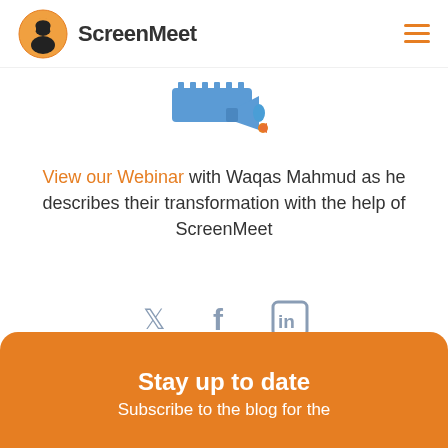ScreenMeet
[Figure (illustration): Blue ruler and megaphone icon]
View our Webinar with Waqas Mahmud as he describes their transformation with the help of ScreenMeet
[Figure (infographic): Social media icons: Twitter, Facebook, LinkedIn]
Stay up to date
Subscribe to the blog for the